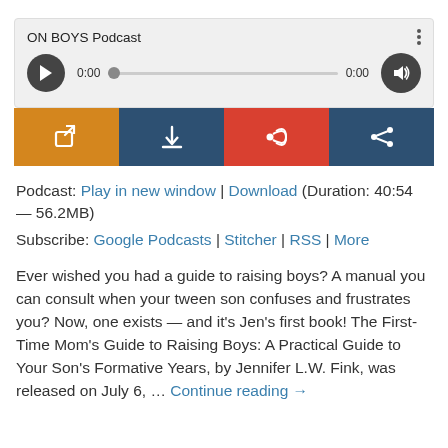[Figure (screenshot): Audio podcast player widget with ON BOYS Podcast title, play button, progress bar showing 0:00, volume button, and four icon buttons (open in new window, download, RSS, share) in orange, navy, red, and navy colors.]
Podcast: Play in new window | Download (Duration: 40:54 — 56.2MB)
Subscribe: Google Podcasts | Stitcher | RSS | More
Ever wished you had a guide to raising boys? A manual you can consult when your tween son confuses and frustrates you? Now, one exists — and it's Jen's first book! The First-Time Mom's Guide to Raising Boys: A Practical Guide to Your Son's Formative Years, by Jennifer L.W. Fink, was released on July 6, … Continue reading →